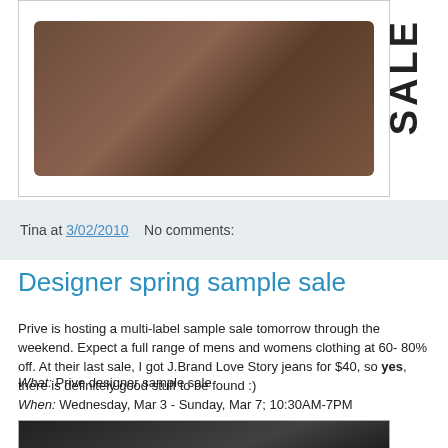[Figure (photo): Brown leather bags and accessories arranged on white background, with 'SALE' text vertically on the right side]
Tina at 3/02/2010    No comments:
Designer spring sample sale
Prive is hosting a multi-label sample sale tomorrow through the weekend. Expect a full range of mens and womens clothing at 60-80% off. At their last sale, I got J.Brand Love Story jeans for $40, so yes, there is definitely good stuff to be found :)
What: Prive designer sample sale
When: Wednesday, Mar 3 - Sunday, Mar 7; 10:30AM-7PM
Where: Chelsea Market, 75 9th Ave (btw 15/16th St)
[Figure (photo): Black and white photo of a fashion model]